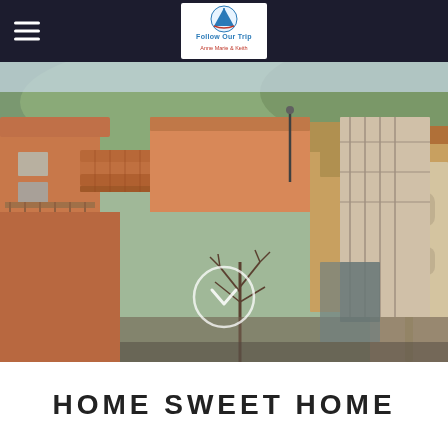Follow Our Trip — Anne Marie & Keith
[Figure (photo): Aerial/elevated view of an Italian hilltown with terracotta tile rooftops, salmon-pink and terracotta building facades, bare winter trees, and green hills in the background. A circular chevron-down icon overlaid in the lower center of the image.]
HOME SWEET HOME